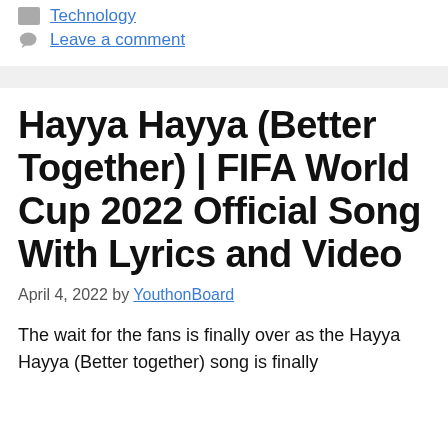Technology
Leave a comment
Hayya Hayya (Better Together) | FIFA World Cup 2022 Official Song With Lyrics and Video
April 4, 2022 by YouthonBoard
The wait for the fans is finally over as the Hayya Hayya (Better together) song is finally